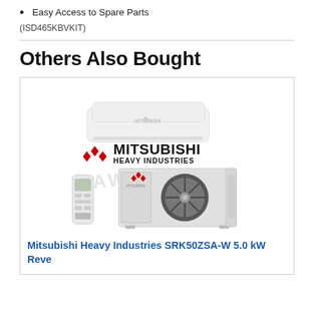Easy Access to Spare Parts
(ISD465KBVKIT)
Others Also Bought
[Figure (photo): Mitsubishi Heavy Industries split air conditioner system showing indoor wall unit, outdoor compressor unit, remote control, and Mitsubishi Heavy Industries logo with red diamond logo mark]
Mitsubishi Heavy Industries SRK50ZSA-W 5.0 kW Reve